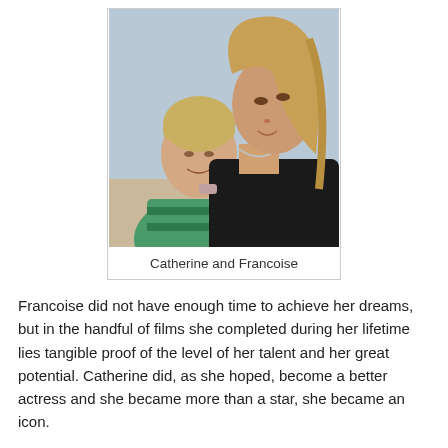[Figure (photo): Two women photographed outdoors near a beach. One woman has short blonde hair and wears a green striped top; the other has long light brown hair and wears a black top. They are posed closely together, looking away from the camera.]
Catherine and Francoise
Francoise did not have enough time to achieve her dreams, but in the handful of films she completed during her lifetime lies tangible proof of the level of her talent and her great potential. Catherine did, as she hoped, become a better actress and she became more than a star, she became an icon.